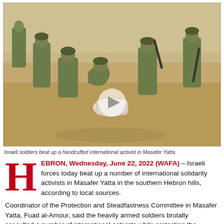[Figure (photo): Israeli soldiers in military gear on sandy ground, surrounding and beating a handcuffed person who is on the ground. Multiple armed soldiers visible with rifles.]
Israeli soldiers beat up a handcuffed international activist in Masafer Yatta
HEBRON, Wednesday, June 22, 2022 (WAFA) – Israeli forces today beat up a number of international solidarity activists in Masafer Yatta in the southern Hebron hills, according to local sources.
Coordinator of the Protection and Steadfastness Committee in Masafer Yatta, Fuad al-Amour, said the heavily armed soldiers brutally assaulted a number of international activists while protesting the military drills close to and in al-Markez, and held two others for a long period.
The Israeli army has been conducting drills in al-Markez, one of 12 hamlets making up the Masafer Yatta, which rely heavily on animal